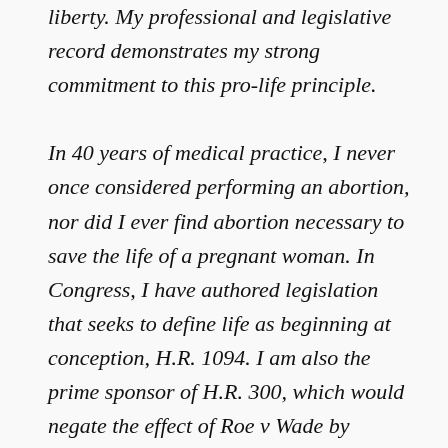liberty. My professional and legislative record demonstrates my strong commitment to this pro-life principle.

In 40 years of medical practice, I never once considered performing an abortion, nor did I ever find abortion necessary to save the life of a pregnant woman. In Congress, I have authored legislation that seeks to define life as beginning at conception, H.R. 1094. I am also the prime sponsor of H.R. 300, which would negate the effect of Roe v Wade by removing the ability of federal courts